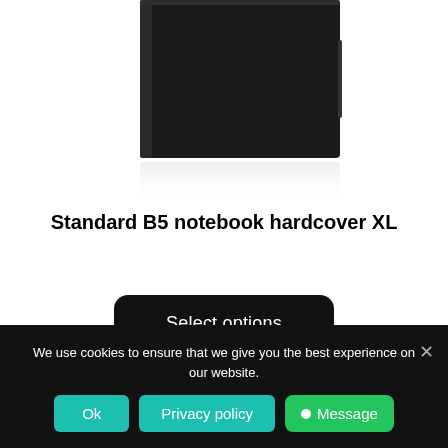[Figure (photo): Black hardcover B5 notebook XL shown from a slight angle against a white background with a subtle reflection visible below.]
Standard B5 notebook hardcover XL
Select options
We use cookies to ensure that we give you the best experience on our website.
Ok
Privacy policy
Message